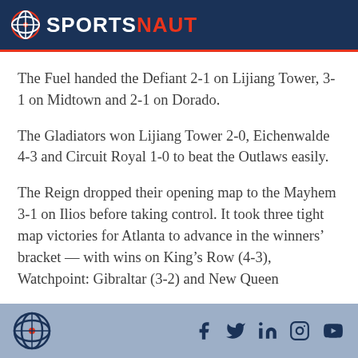SPORTSNAUT
The Fuel handed the Defiant 2-1 on Lijiang Tower, 3-1 on Midtown and 2-1 on Dorado.
The Gladiators won Lijiang Tower 2-0, Eichenwalde 4-3 and Circuit Royal 1-0 to beat the Outlaws easily.
The Reign dropped their opening map to the Mayhem 3-1 on Ilios before taking control. It took three tight map victories for Atlanta to advance in the winners’ bracket — with wins on King’s Row (4-3), Watchpoint: Gibraltar (3-2) and New Queen
Sportsnaut footer with social media icons: Facebook, Twitter, LinkedIn, Instagram, YouTube